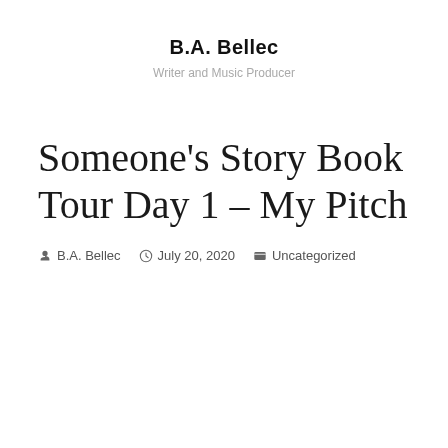B.A. Bellec
Writer and Music Producer
Someone's Story Book Tour Day 1 – My Pitch
B.A. Bellec   July 20, 2020   Uncategorized